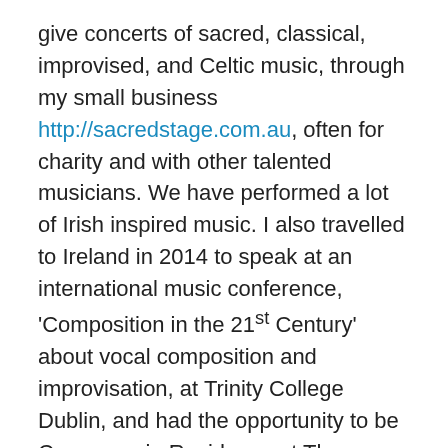give concerts of sacred, classical, improvised, and Celtic music, through my small business http://sacredstage.com.au, often for charity and with other talented musicians. We have performed a lot of Irish inspired music. I also travelled to Ireland in 2014 to speak at an international music conference, 'Composition in the 21st Century' about vocal composition and improvisation, at Trinity College Dublin, and had the opportunity to be Composer in Residence at The Tyrone Guthrie Centre, county Monaghan. While in Ireland I visited the birthplace of my ancestors: Catherine Mahony from Clonakilty (Cloch na Coillte or Clann na Coillte) and Mary Butler, Michael Lawlor, and Catherine Moloney from Kilkenny (Cill Chainnigh). I also visited many tourist destinations, especially sacred sites and learned something about Irish traditional music through singing at daytime sessions, also